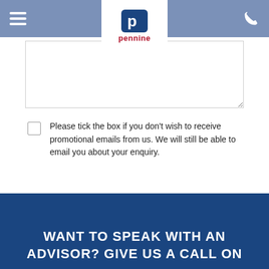[Figure (screenshot): Pennine insurance website header navigation bar with hamburger menu icon on left, Pennine logo in center white panel, and phone icon on right, on a steel blue background]
[Figure (screenshot): A resizable textarea input field for form submission]
Please tick the box if you don't wish to receive promotional emails from us. We will still be able to email you about your enquiry.
[Figure (screenshot): Red GET QUOTE button with chevron arrow]
WANT TO SPEAK WITH AN ADVISOR? GIVE US A CALL ON